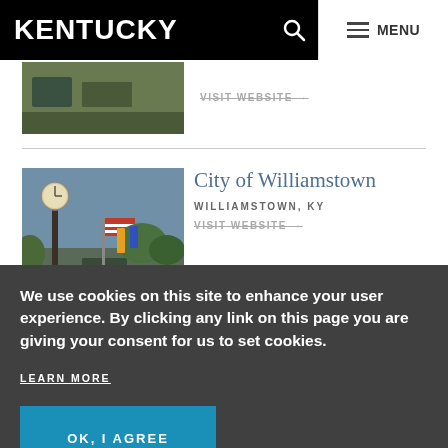KENTUCKY
[Figure (screenshot): Partially visible image of a green landscape listing]
VISIT WEBSITE →
[Figure (photo): Photo of Williamstown town square with clock tower and American flag]
City of Williamstown
WILLIAMSTOWN, KY
VISIT WEBSITE →
We use cookies on this site to enhance your user experience. By clicking any link on this page you are giving your consent for us to set cookies.
LEARN MORE
OK, I AGREE